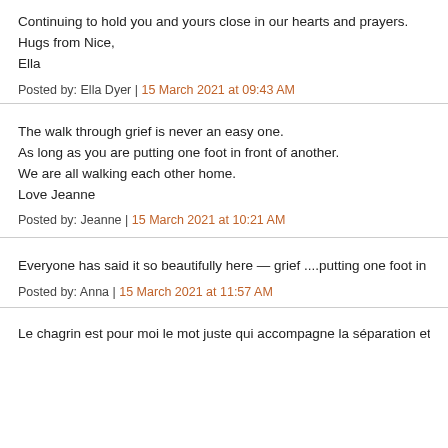Continuing to hold you and yours close in our hearts and prayers.
Hugs from Nice,
Ella
Posted by: Ella Dyer | 15 March 2021 at 09:43 AM
The walk through grief is never an easy one.
As long as you are putting one foot in front of another.
We are all walking each other home.
Love Jeanne
Posted by: Jeanne | 15 March 2021 at 10:21 AM
Everyone has said it so beautifully here — grief ....putting one foot in f
Posted by: Anna | 15 March 2021 at 11:57 AM
Le chagrin est pour moi le mot juste qui accompagne la séparation et...